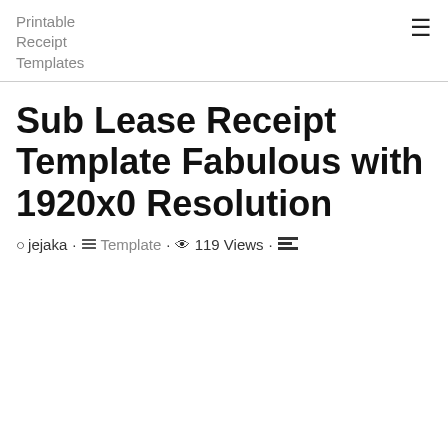Printable Receipt Templates
Sub Lease Receipt Template Fabulous with 1920x0 Resolution
jejaka · Template · 119 Views ·